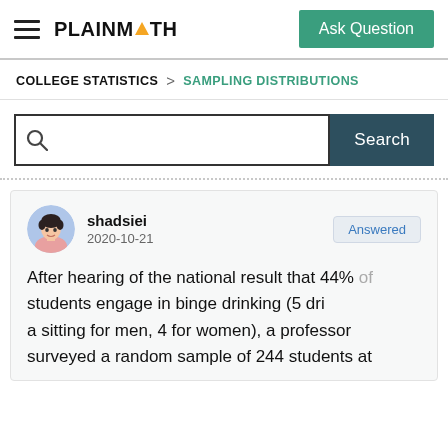PLAINMATH — Ask Question
COLLEGE STATISTICS > SAMPLING DISTRIBUTIONS
Search
shadsiei 2020-10-21 Answered
After hearing of the national result that 44% of students engage in binge drinking (5 dri a sitting for men, 4 for women), a professor surveyed a random sample of 244 students at